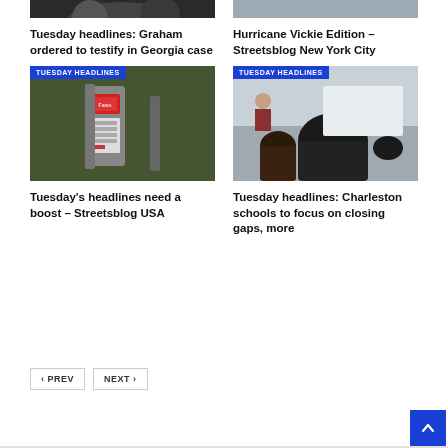[Figure (photo): Partial photo of a person at a press event (top of page, left column)]
Tuesday headlines: Graham ordered to testify in Georgia case
[Figure (photo): Partial photo related to Hurricane Vickie (top of page, right column)]
Hurricane Vickie Edition – Streetsblog New York City
[Figure (photo): Transit fare machine with TUESDAY HEADLINES badge]
Tuesday's headlines need a boost – Streetsblog USA
[Figure (photo): Classroom scene with students and teacher, TUESDAY HEADLINES badge]
Tuesday headlines: Charleston schools to focus on closing gaps, more